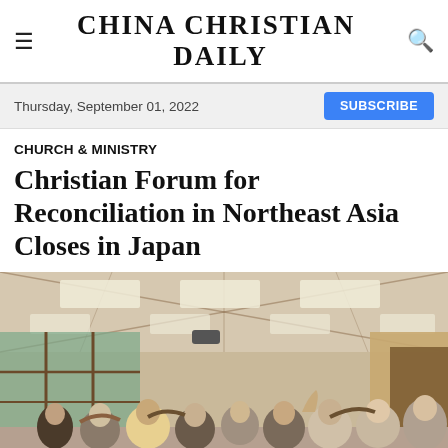CHINA CHRISTIAN DAILY
Thursday, September 01, 2022
SUBSCRIBE
CHURCH & MINISTRY
Christian Forum for Reconciliation in Northeast Asia Closes in Japan
[Figure (photo): A group of people gathered in a conference room, bowing their heads and placing hands on each other in prayer. The room has a wood-paneled ceiling with recessed lighting and large windows with views of green trees outside.]